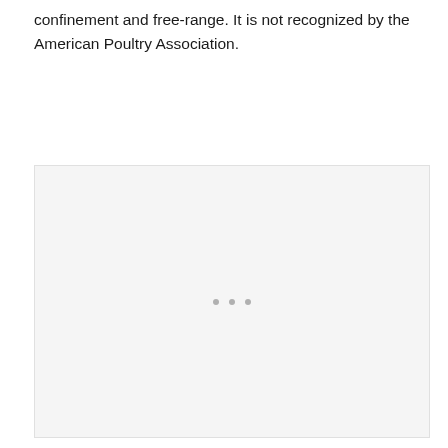confinement and free-range. It is not recognized by the American Poultry Association.
[Figure (photo): A mostly blank/white image placeholder with three small gray dots centered in the lower-middle area, bordered by a light gray rectangle.]